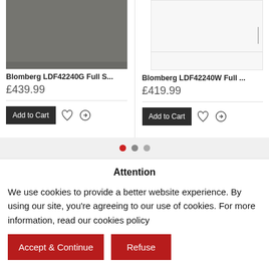[Figure (screenshot): Product card for Blomberg LDF42240G Full S... showing a dark grey dishwasher panel image]
Blomberg LDF42240G Full S...
£439.99
[Figure (screenshot): Product card for Blomberg LDF42240W Full ... showing a white dishwasher panel image]
Blomberg LDF42240W Full ...
£419.99
Attention
We use cookies to provide a better website experience. By using our site, you're agreeing to our use of cookies. For more information, read our cookies policy